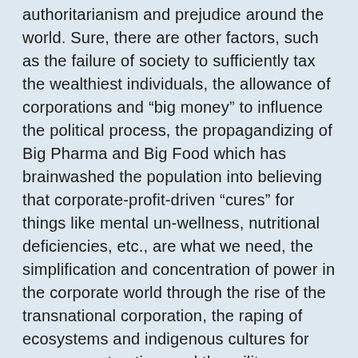authoritarianism and prejudice around the world. Sure, there are other factors, such as the failure of society to sufficiently tax the wealthiest individuals, the allowance of corporations and “big money” to influence the political process, the propagandizing of Big Pharma and Big Food which has brainwashed the population into believing that corporate-profit-driven “cures” for things like mental un-wellness, nutritional deficiencies, etc., are what we need, the simplification and concentration of power in the corporate world through the rise of the transnational corporation, the raping of ecosystems and indigenous cultures for resource extraction, and the military meddling and outright brutalization of many countries’ democratic processes by certain nations. There are many factors that are contributing to the shit-show of problems that is becoming humankind’s “21st century”.